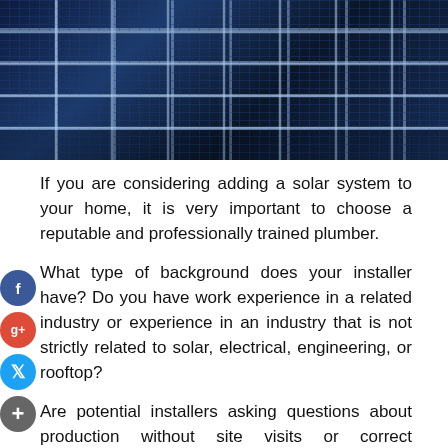[Figure (photo): Aerial view of solar panels arranged in a grid pattern, dark blue cells with silver/white frame dividers]
If you are considering adding a solar system to your home, it is very important to choose a reputable and professionally trained plumber.
What type of background does your installer have? Do you have work experience in a related industry or experience in an industry that is not strictly related to solar, electrical, engineering, or rooftop?
Are potential installers asking questions about production without site visits or correct information? Such local businesses are known to promise their customers a 54% reduction in energy bills without properly assessing location or knowing homeowners' utility bills and energy